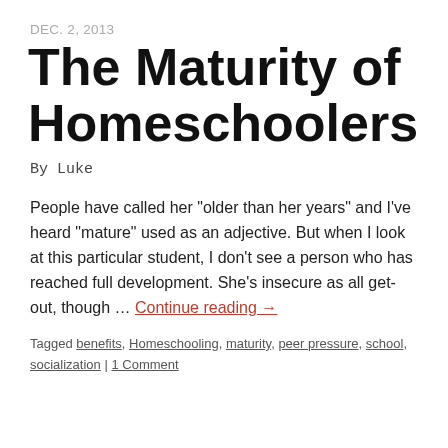DEC. 2, 2013
The Maturity of Homeschoolers
By Luke
People have called her "older than her years" and I've heard "mature" used as an adjective. But when I look at this particular student, I don't see a person who has reached full development. She's insecure as all get-out, though … Continue reading →
Tagged benefits, Homeschooling, maturity, peer pressure, school, socialization | 1 Comment